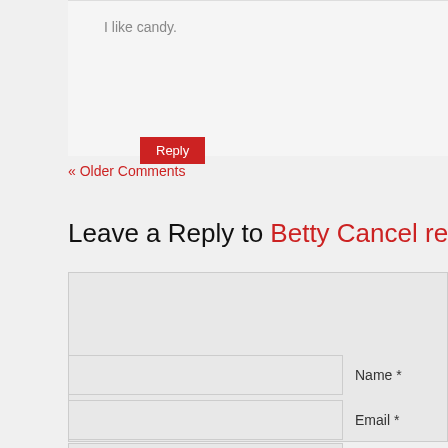I like candy.
Reply
« Older Comments
Leave a Reply to Betty Cancel reply
[Figure (other): Comment text area input field]
Name *
Email *